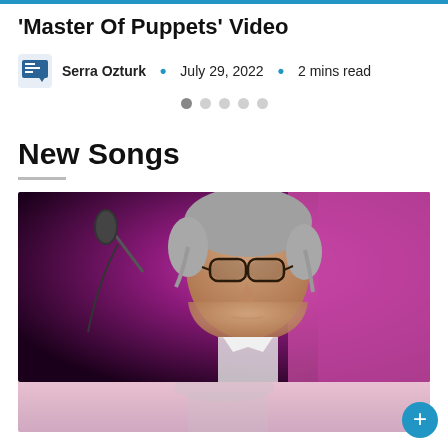'Master Of Puppets' Video
Serra Ozturk · July 29, 2022 · 2 mins read
New Songs
[Figure (photo): Photo of an older man with gray hair and glasses performing on stage, with a microphone stand visible to the left and a pink/purple stage backdrop behind him. Below the main photo is a partially visible continuation of the image.]